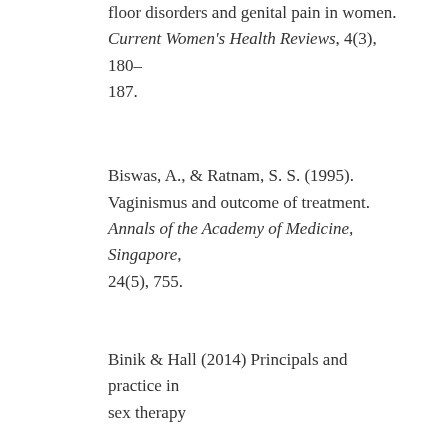floor disorders and genital pain in women. Current Women’s Health Reviews, 4(3), 180–187.
Biswas, A., & Ratnam, S. S. (1995). Vaginismus and outcome of treatment. Annals of the Academy of Medicine, Singapore, 24(5), 755.
Binik & Hall (2014) Principals and practice in sex therapy
YM Binik, KSK Hall – 2014
Boa, R. (2013, November). Female sexual pain disorders. In Obstetrics and Gynaecology